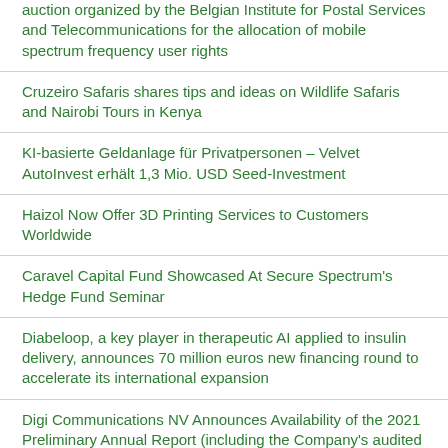auction organized by the Belgian Institute for Postal Services and Telecommunications for the allocation of mobile spectrum frequency user rights
Cruzeiro Safaris shares tips and ideas on Wildlife Safaris and Nairobi Tours in Kenya
KI-basierte Geldanlage für Privatpersonen – Velvet AutoInvest erhält 1,3 Mio. USD Seed-Investment
Haizol Now Offer 3D Printing Services to Customers Worldwide
Caravel Capital Fund Showcased At Secure Spectrum's Hedge Fund Seminar
Diabeloop, a key player in therapeutic AI applied to insulin delivery, announces 70 million euros new financing round to accelerate its international expansion
Digi Communications NV Announces Availability of the 2021 Preliminary Annual Report (including the Company's audited non-